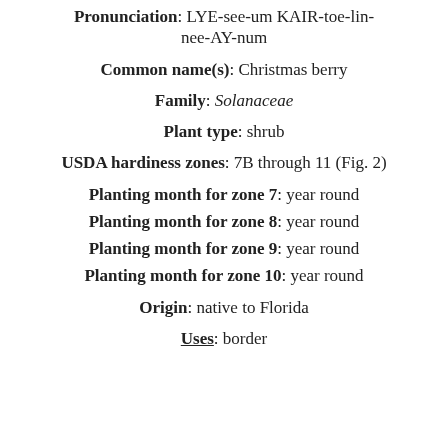Pronunciation: LYE-see-um KAIR-toe-lin-nee-AY-num
Common name(s): Christmas berry
Family: Solanaceae
Plant type: shrub
USDA hardiness zones: 7B through 11 (Fig. 2)
Planting month for zone 7: year round
Planting month for zone 8: year round
Planting month for zone 9: year round
Planting month for zone 10: year round
Origin: native to Florida
Uses: border